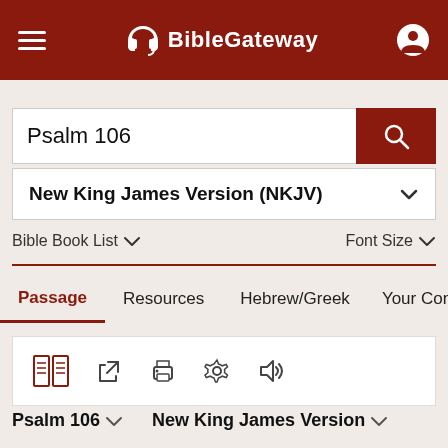BibleGateway
Psalm 106
New King James Version (NKJV)
Bible Book List    Font Size
Passage   Resources   Hebrew/Greek   Your Cont
[Figure (screenshot): Toolbar icons: parallel bible, external link, print, settings, audio]
Psalm 106   New King James Version